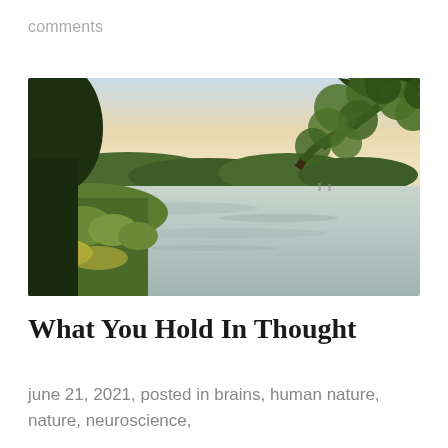comments
[Figure (photo): Landscape photo of a calm lake at sunrise/early morning. Green trees and marsh grass are visible on the left bank, lush green tree branches hang from the upper right, and a forested horizon is reflected in the still water under a pale yellow-pink sky.]
What You Hold In Thought
june 21, 2021, posted in brains, human nature, nature, neuroscience,